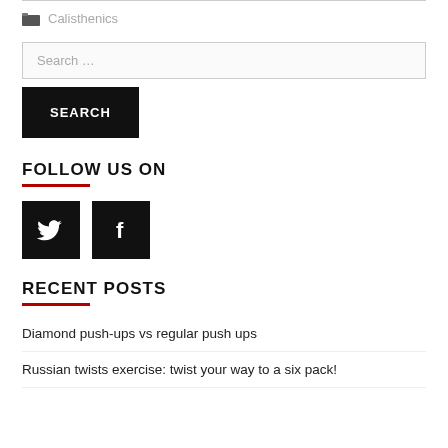Calisthenics
Search …
SEARCH
FOLLOW US ON
[Figure (illustration): Twitter and Facebook social media icons as black square buttons with white bird and f symbols]
RECENT POSTS
Diamond push-ups vs regular push ups
Russian twists exercise: twist your way to a six pack!